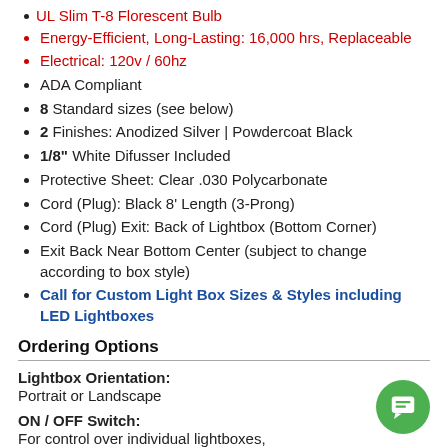UL Slim T-8 Florescent Bulb
Energy-Efficient, Long-Lasting: 16,000 hrs, Replaceable
Electrical: 120v / 60hz
ADA Compliant
8 Standard sizes (see below)
2 Finishes: Anodized Silver | Powdercoat Black
1/8" White Difusser Included
Protective Sheet: Clear .030 Polycarbonate
Cord (Plug): Black 8' Length (3-Prong)
Cord (Plug) Exit: Back of Lightbox (Bottom Corner)
Exit Back Near Bottom Center (subject to change according to box style)
Call for Custom Light Box Sizes & Styles including LED Lightboxes
Ordering Options
Lightbox Orientation:
Portrait or Landscape
ON / OFF Switch:
For control over individual lightboxes,